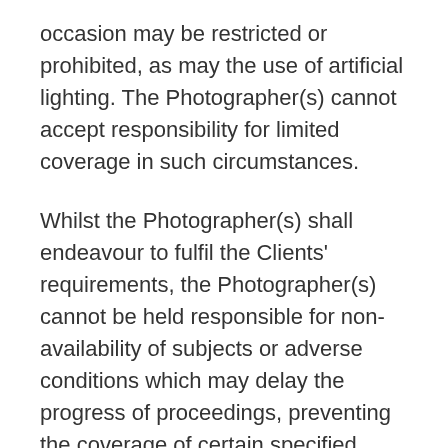occasion may be restricted or prohibited, as may the use of artificial lighting. The Photographer(s) cannot accept responsibility for limited coverage in such circumstances.
Whilst the Photographer(s) shall endeavour to fulfil the Clients' requirements, the Photographer(s) cannot be held responsible for non-availability of subjects or adverse conditions which may delay the progress of proceedings, preventing the coverage of certain specified shots.
Any alterations made to this Contract by the Clients once details have been confirmed may be made at the discretion of the